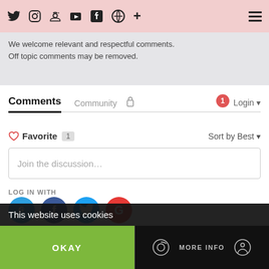Social media icons and hamburger menu
We welcome relevant and respectful comments. Off topic comments may be removed.
Comments   Community   🔒   🔴1   Login ▾
♡ Favorite  1   Sort by Best ▾
Join the discussion…
LOG IN WITH
[Figure (other): Social login icons: Disqus (D), Facebook (F), Twitter bird, Google (G)]
OR SIGN UP WITH DISQUS ?
This website uses cookies
OKAY   MORE INFO